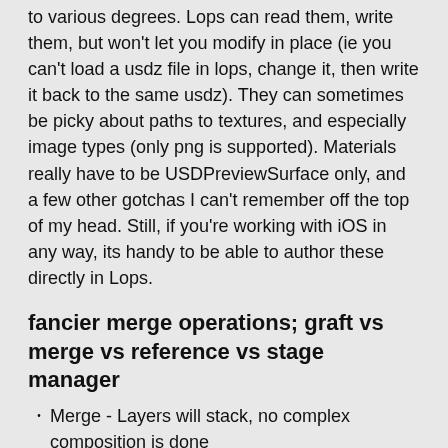to various degrees. Lops can read them, write them, but won't let you modify in place (ie you can't load a usdz file in lops, change it, then write it back to the same usdz). They can sometimes be picky about paths to textures, and especially image types (only png is supported). Materials really have to be USDPreviewSurface only, and a few other gotchas I can't remember off the top of my head. Still, if you're working with iOS in any way, its handy to be able to author these directly in Lops.
fancier merge operations; graft vs merge vs reference vs stage manager
Merge - Layers will stack, no complex composition is done
Graft - Try and combine inputs into a single layer. If you have large layers, this can be an expensive operation, save this for atomic edits
Reference - The preferred method of pulling in stuff from a live scene is live, along with restrictions about it